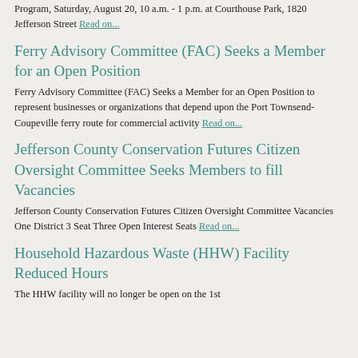Program, Saturday, August 20, 10 a.m. - 1 p.m. at Courthouse Park, 1820 Jefferson Street Read on...
Ferry Advisory Committee (FAC) Seeks a Member for an Open Position
Ferry Advisory Committee (FAC) Seeks a Member for an Open Position to represent businesses or organizations that depend upon the Port Townsend-Coupeville ferry route for commercial activity Read on...
Jefferson County Conservation Futures Citizen Oversight Committee Seeks Members to fill Vacancies
Jefferson County Conservation Futures Citizen Oversight Committee Vacancies One District 3 Seat Three Open Interest Seats Read on...
Household Hazardous Waste (HHW) Facility Reduced Hours
The HHW facility will no longer be open on the 1st